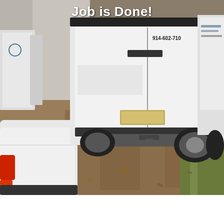[Figure (photo): Outdoor scene showing white plumbing/heating service vans branded with company logo and phone number 914-602-7100, parked on a gravel/dirt lot next to a white car on the left and grass on the right. The image shows the rear and side of vans with company branding. Text overlay at the top reads 'Job is Done!' in bold white font.]
Job is Done!